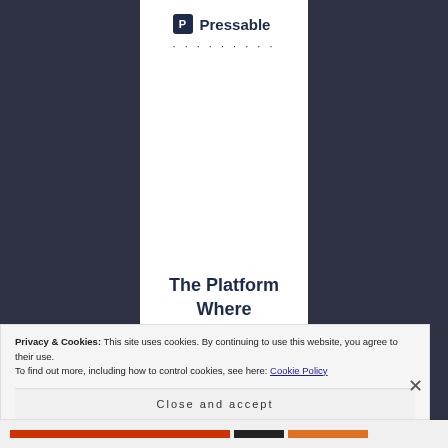[Figure (logo): Pressable logo with square 'P' icon and brand name]
The Platform Where WordPress Works Best
Privacy & Cookies: This site uses cookies. By continuing to use this website, you agree to their use.
To find out more, including how to control cookies, see here: Cookie Policy
Close and accept